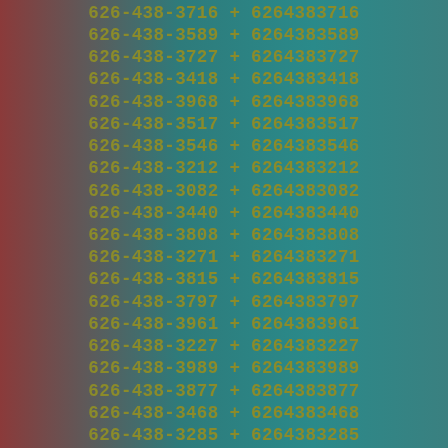626-438-3944 + 6264383944
626-438-3716 + 6264383716
626-438-3589 + 6264383589
626-438-3727 + 6264383727
626-438-3418 + 6264383418
626-438-3968 + 6264383968
626-438-3517 + 6264383517
626-438-3546 + 6264383546
626-438-3212 + 6264383212
626-438-3082 + 6264383082
626-438-3440 + 6264383440
626-438-3808 + 6264383808
626-438-3271 + 6264383271
626-438-3815 + 6264383815
626-438-3797 + 6264383797
626-438-3961 + 6264383961
626-438-3227 + 6264383227
626-438-3989 + 6264383989
626-438-3877 + 6264383877
626-438-3468 + 6264383468
626-438-3285 + 6264383285
626-438-3772 + 6264383772